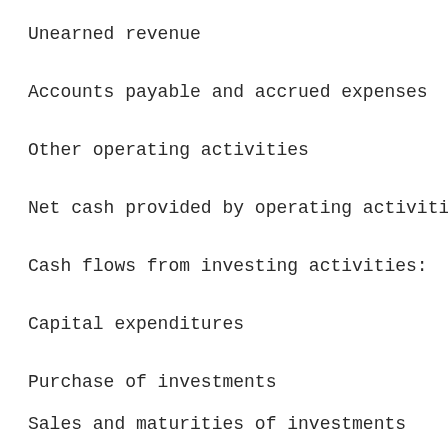Unearned revenue
Accounts payable and accrued expenses
Other operating activities
Net cash provided by operating activiti
Cash flows from investing activities:
Capital expenditures
Purchase of investments
Sales and maturities of investments